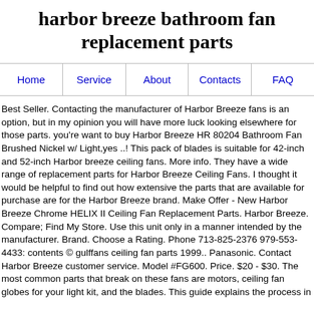harbor breeze bathroom fan replacement parts
Home | Service | About | Contacts | FAQ
Best Seller. Contacting the manufacturer of Harbor Breeze fans is an option, but in my opinion you will have more luck looking elsewhere for those parts. you're want to buy Harbor Breeze HR 80204 Bathroom Fan Brushed Nickel w/ Light,yes ..! This pack of blades is suitable for 42-inch and 52-inch Harbor breeze ceiling fans. More info. They have a wide range of replacement parts for Harbor Breeze Ceiling Fans. I thought it would be helpful to find out how extensive the parts that are available for purchase are for the Harbor Breeze brand. Make Offer - New Harbor Breeze Chrome HELIX II Ceiling Fan Replacement Parts. Harbor Breeze. Compare; Find My Store. Use this unit only in a manner intended by the manufacturer. Brand. Choose a Rating. Phone 713-825-2376 979-553-4433: contents © gulffans ceiling fan parts 1999.. Panasonic. Contact Harbor Breeze customer service. Model #FG600. Price. $20 - $30. The most common parts that break on these fans are motors, ceiling fan globes for your light kit, and the blades. This guide explains the process in